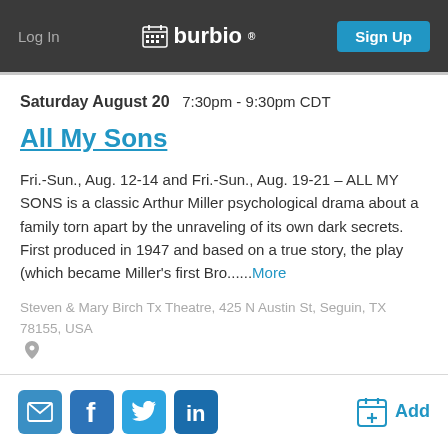Log In   burbio   Sign Up
Saturday August 20   7:30pm - 9:30pm CDT
All My Sons
Fri.-Sun., Aug. 12-14 and Fri.-Sun., Aug. 19-21 – ALL MY SONS is a classic Arthur Miller psychological drama about a family torn apart by the unraveling of its own dark secrets. First produced in 1947 and based on a true story, the play (which became Miller's first Bro......More
Steven & Mary Birch Tx Theatre, 425 N Austin St, Seguin, TX 78155, USA
Add